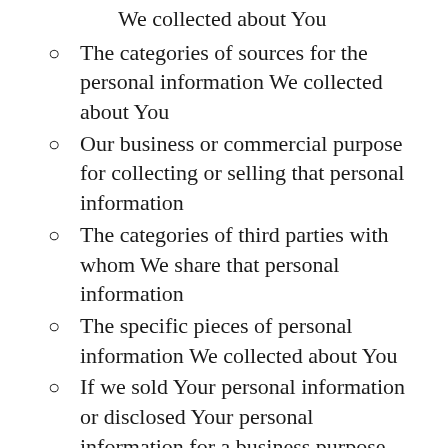We collected about You
The categories of sources for the personal information We collected about You
Our business or commercial purpose for collecting or selling that personal information
The categories of third parties with whom We share that personal information
The specific pieces of personal information We collected about You
If we sold Your personal information or disclosed Your personal information for a business purpose, We will disclose to You:
The categories of personal...